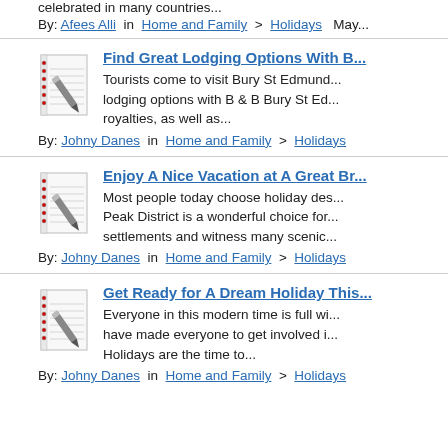celebrated in many countries...
By: Afees Alli in  Home and Family  >  Holidays   May...
[Figure (illustration): Notepad with pen icon]
Find Great Lodging Options With B...
Tourists come to visit Bury St Edmund... lodging options with B & B Bury St Ed... royalties, as well as...
By: Johny Danes in  Home and Family  >  Holidays
[Figure (illustration): Notepad with pen icon]
Enjoy A Nice Vacation at A Great Br...
Most people today choose holiday des... Peak District is a wonderful choice for... settlements and witness many scenic...
By: Johny Danes in  Home and Family  >  Holidays
[Figure (illustration): Notepad with pen icon]
Get Ready for A Dream Holiday This...
Everyone in this modern time is full wi... have made everyone to get involved i... Holidays are the time to...
By: Johny Danes in  Home and Family  >  Holidays